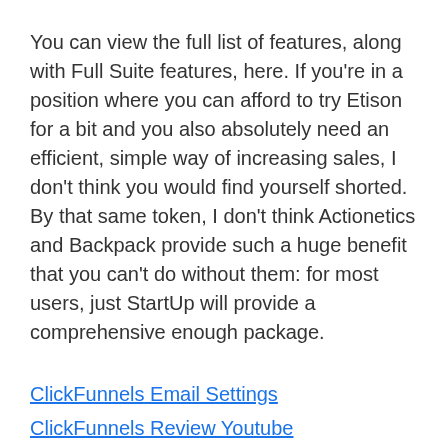You can view the full list of features, along with Full Suite features, here. If you're in a position where you can afford to try Etison for a bit and you also absolutely need an efficient, simple way of increasing sales, I don't think you would find yourself shorted. By that same token, I don't think Actionetics and Backpack provide such a huge benefit that you can't do without them: for most users, just StartUp will provide a comprehensive enough package.
ClickFunnels Email Settings
ClickFunnels Review Youtube
Is ClickFunnels Worth It Reddit
ClickFunnels & Stripe (partially visible)